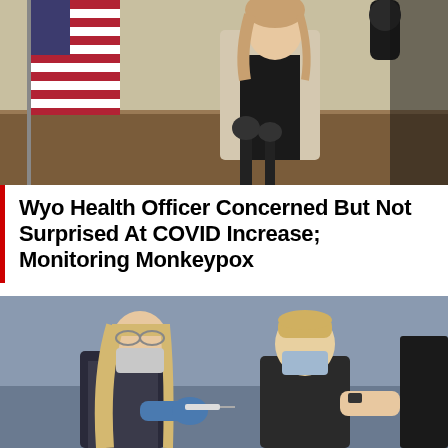[Figure (photo): A woman in a light blazer and dark top stands at a podium with microphones in an official setting. An American flag is visible on the left side.]
Wyo Health Officer Concerned But Not Surprised At COVID Increase; Monitoring Monkeypox
[Figure (photo): A healthcare worker wearing a mask and blue gloves administers a vaccine injection to a person with short blonde hair who is also wearing a mask.]